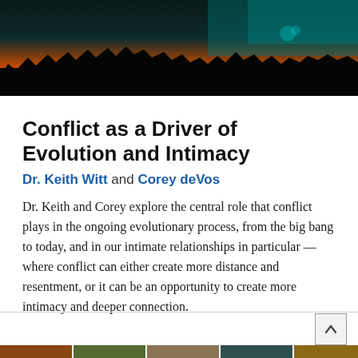[Figure (photo): Header photo showing a dramatic sunset or twilight landscape with silhouettes of trees/structures against an orange, teal, and dark sky.]
Conflict as a Driver of Evolution and Intimacy
Dr. Keith Witt and Corey deVos
Dr. Keith and Corey explore the central role that conflict plays in the ongoing evolutionary process, from the big bang to today, and in our intimate relationships in particular — where conflict can either create more distance and resentment, or it can be an opportunity to create more intimacy and deeper connection.
[Figure (photo): Bottom strip: partial thumbnail images visible at the bottom edge of the page.]